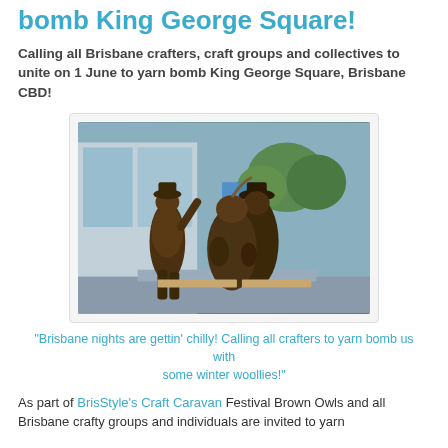bomb King George Square!
Calling all Brisbane crafters, craft groups and collectives to unite on 1 June to yarn bomb King George Square, Brisbane CBD!
[Figure (photo): Photograph of bronze statues in King George Square, Brisbane CBD, with modern buildings and trees in the background.]
"Brisbane nights are gettin' chilly! Calling all crafters to yarn bomb us with some winter woollies!"
As part of BrisStyle's Craft Caravan Festival Brown Owls and all Brisbane crafty groups and individuals are invited to yarn